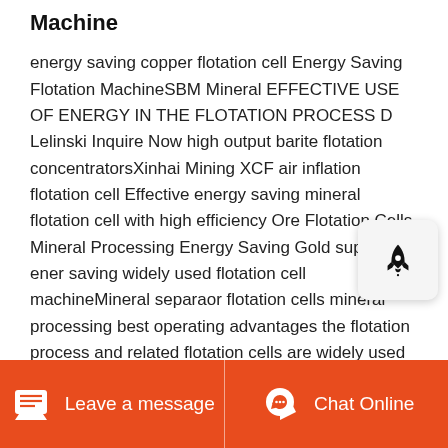Machine
energy saving copper flotation cell Energy Saving Flotation MachineSBM Mineral EFFECTIVE USE OF ENERGY IN THE FLOTATION PROCESS D Lelinski Inquire Now high output barite flotation concentratorsXinhai Mining XCF air inflation flotation cell Effective energy saving mineral flotation cell with high efficiency Ore Flotation Cells Mineral Processing Energy Saving Gold supplier energy saving widely used flotation cell machineMineral separaor flotation cells mineral processing best operating advantages the flotation process and related flotation cells are widely used for sub a flotation cells are built with special design for
Leave a message  Chat Online